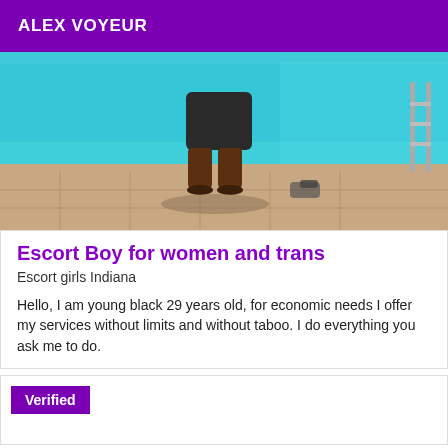ALEX VOYEUR
[Figure (photo): Person standing by a swimming pool, wearing dark shorts/capri pants, photographed from behind. Blue pool water visible, stone paving tiles on the ground, shoes/items on the ground nearby.]
Escort Boy for women and trans
Escort girls Indiana
Hello, I am young black 29 years old, for economic needs I offer my services without limits and without taboo. I do everything you ask me to do.
Verified